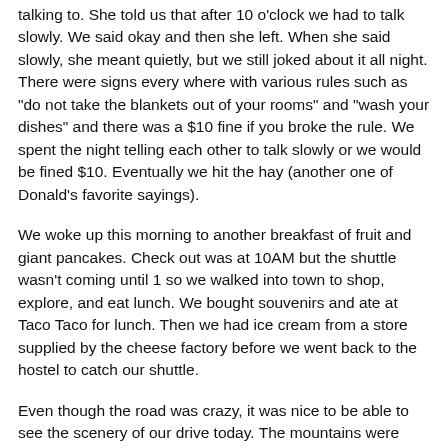talking to.  She told us that after 10 o'clock we had to talk slowly.  We said okay and then she left.  When she said slowly, she meant quietly, but we still joked about it all night.  There were signs every where with various rules such as "do not take the blankets out of your rooms" and "wash your dishes" and there was a $10 fine if you broke the rule.  We spent the night telling each other to talk slowly or we would be fined $10.  Eventually we hit the hay (another one of Donald's favorite sayings).
We woke up this morning to another breakfast of fruit and giant pancakes.  Check out was at 10AM but the shuttle wasn't coming until 1 so we walked into town to shop, explore, and eat lunch.  We bought souvenirs and ate at Taco Taco for lunch.  Then we had ice cream from a store supplied by the cheese factory before we went back to the hostel to catch our shuttle.
Even though the road was crazy, it was nice to be able to see the scenery of our drive today.  The mountains were beautiful!